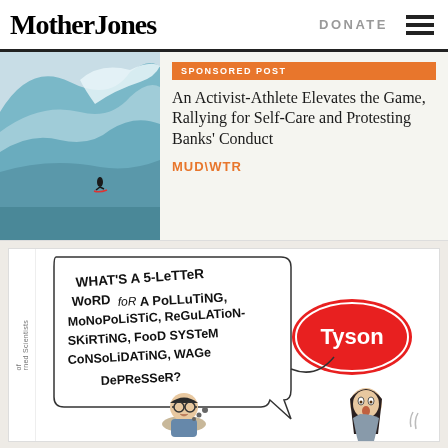Mother Jones
DONATE
[Figure (photo): Surfer riding a large wave]
SPONSORED POST
An Activist-Athlete Elevates the Game, Rallying for Self-Care and Protesting Banks' Conduct
MUD\WTR
[Figure (illustration): Cartoon advertisement: a crossword puzzle clue asks 'What's a 5-letter word for a polluting, monopolistic, regulation-skirting, food system consolidating, wage depressor?' with Tyson logo as the answer. Two characters shown at the bottom.]